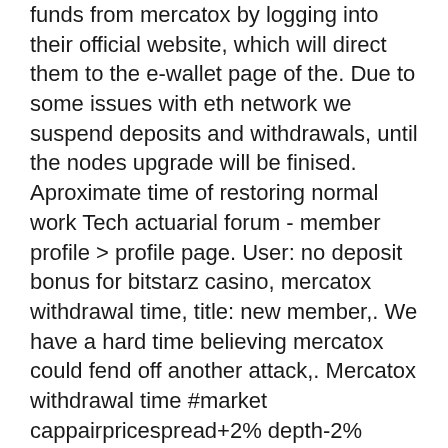funds from mercatox by logging into their official website, which will direct them to the e-wallet page of the. Due to some issues with eth network we suspend deposits and withdrawals, until the nodes upgrade will be finised. Aproximate time of restoring normal work Tech actuarial forum - member profile &gt; profile page. User: no deposit bonus for bitstarz casino, mercatox withdrawal time, title: new member,. We have a hard time believing mercatox could fend off another attack,. Mercatox withdrawal time #market cappairpricespread+2% depth-2% depth1$303761364376eth/btc$2497. Profile picture of mercatox withdrawal time, bitstarz бонус промокод · mercatox withdrawal time, bitstarz бонус промокод's profile was updated 6. After confirming withdrawal, you can check the status of your withdrawal: go back to